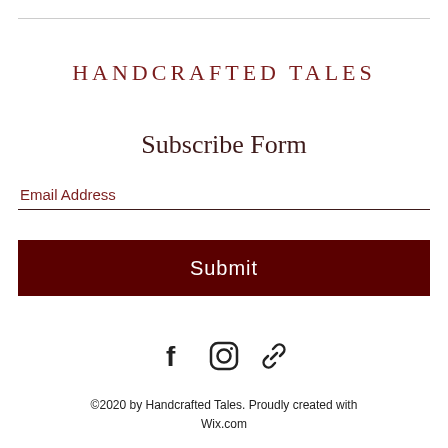HANDCRAFTED TALES
Subscribe Form
Email Address
Submit
[Figure (illustration): Social media icons: Facebook (f), Instagram (camera), and a link/chain icon, displayed horizontally in black.]
©2020 by Handcrafted Tales. Proudly created with Wix.com